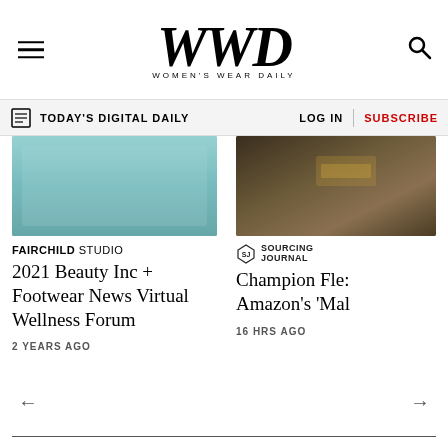WWD — Women's Wear Daily
TODAY'S DIGITAL DAILY | LOG IN | SUBSCRIBE
[Figure (photo): Teal/aqua textured background image for Fairchild Studio article]
FAIRCHILD STUDIO — 2021 Beauty Inc + Footwear News Virtual Wellness Forum
2 YEARS AGO
[Figure (photo): Dark interior photo for Champion/Amazon article, Sourcing Journal]
Champion Fle: Amazon's 'Mal
16 HRS AGO
[Figure (advertisement): Fairchild Fashion Museum — A Matter of Style — A Fairchild Archive Gallery Exhibition — LEARN MORE]